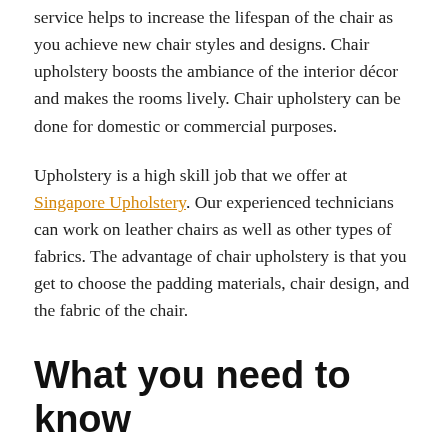service helps to increase the lifespan of the chair as you achieve new chair styles and designs. Chair upholstery boosts the ambiance of the interior décor and makes the rooms lively. Chair upholstery can be done for domestic or commercial purposes.
Upholstery is a high skill job that we offer at Singapore Upholstery. Our experienced technicians can work on leather chairs as well as other types of fabrics. The advantage of chair upholstery is that you get to choose the padding materials, chair design, and the fabric of the chair.
What you need to know about chair upholstery